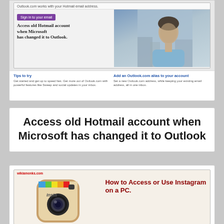[Figure (screenshot): Screenshot of Outlook.com page showing 'Access old Hotmail account when Microsoft has changed it to Outlook' with a purple Sign in button, a person photo on the right, and tips section at the bottom with 'Tips to try' and 'Add an Outlook.com alias to your account']
Access old Hotmail account when Microsoft has changed it to Outlook
[Figure (screenshot): Screenshot from wikiamonks.com showing Instagram logo icon on left and text 'How to Access or Use Instagram on a PC.' on right in dark red]